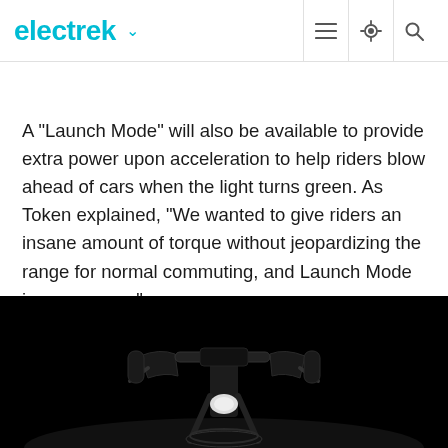electrek
A "Launch Mode" will also be available to provide extra power upon acceleration to help riders blow ahead of cars when the light turns green. As Token explained, "We wanted to give riders an insane amount of torque without jeopardizing the range for normal commuting, and Launch Mode is our answer."
Pricing for the RQi Sport will start at €6,999 in Europe.
[Figure (photo): Black and white photograph of an electric motorcycle/scooter (RQi Sport) showing the handlebars, headlight, and front wheel area against a dark background.]